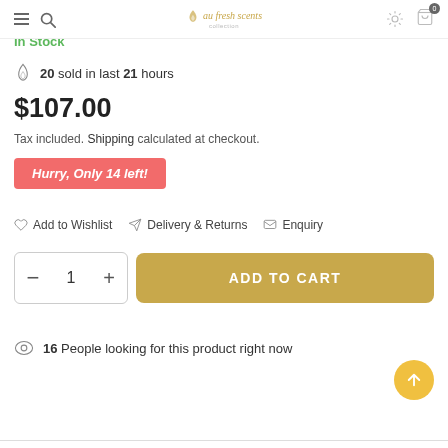au fresh scents — navigation bar with menu, search, logo, settings, cart
5.1 Oz (Collector's Edition)
In Stock
20 sold in last 21 hours
$107.00
Tax included. Shipping calculated at checkout.
Hurry, Only 14 left!
Add to Wishlist   Delivery & Returns   Enquiry
— 1 +  ADD TO CART
16 People looking for this product right now